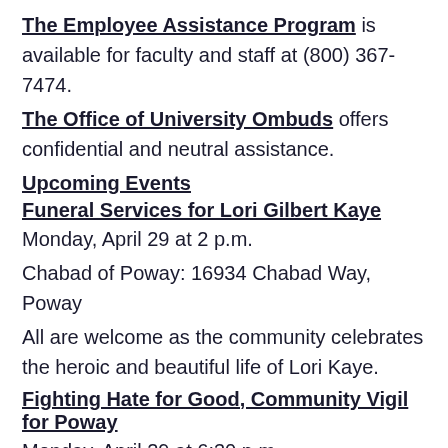The Employee Assistance Program is available for faculty and staff at (800) 367-7474.
The Office of University Ombuds offers confidential and neutral assistance.
Upcoming Events
Funeral Services for Lori Gilbert Kaye
Monday, April 29 at 2 p.m.
Chabad of Poway: 16934 Chabad Way, Poway
All are welcome as the community celebrates the heroic and beautiful life of Lori Kaye.
Fighting Hate for Good, Community Vigil for Poway
Monday, April 29 at 6:30 p.m.
Poway High School: 15500 Espola Road, Poway
A candlelight vigil honoring the victims of the Chabad of Poway tragedy and to stand together against anti-Semitism and hate, organized by ADL, Jewish Community Foundation, Jewish Family Service, Jewish Federation...